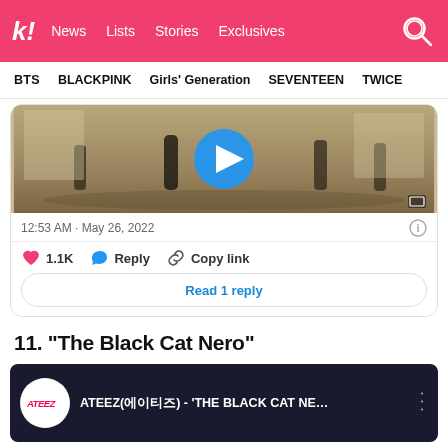k! News Lists Stories Exclusives
BTS   BLACKPINK   Girls' Generation   SEVENTEEN   TWICE
[Figure (screenshot): Video thumbnail showing people dancing in a room with a blue play button overlay]
12:53 AM · May 26, 2022
1.1K   Reply   Copy link
Read 1 reply
11. “The Black Cat Nero”
[Figure (screenshot): YouTube embed showing ATEEZ(에이티즈) - 'THE BLACK CAT NE...' with ATEEZ logo circle and blue background]